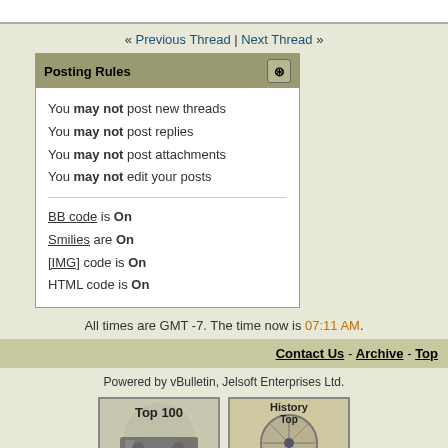« Previous Thread | Next Thread »
| Posting Rules |
| --- |
| You may not post new threads |
| You may not post replies |
| You may not post attachments |
| You may not edit your posts |
| BB code is On |
| Smilies are On |
| [IMG] code is On |
| HTML code is On |
All times are GMT -7. The time now is 07:11 AM.
Contact Us - Archive - Top
Powered by vBulletin, Jelsoft Enterprises Ltd.
[Figure (logo): Top 100 Military Sites badge with tank image]
[Figure (logo): History Top 100 badge with compass rose image]
[Figure (logo): Patriot Webring banner with US flag]